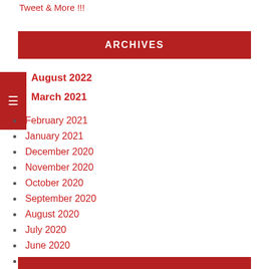Tweet & More !!!
ARCHIVES
August 2022
March 2021
February 2021
January 2021
December 2020
November 2020
October 2020
September 2020
August 2020
July 2020
June 2020
May 2020